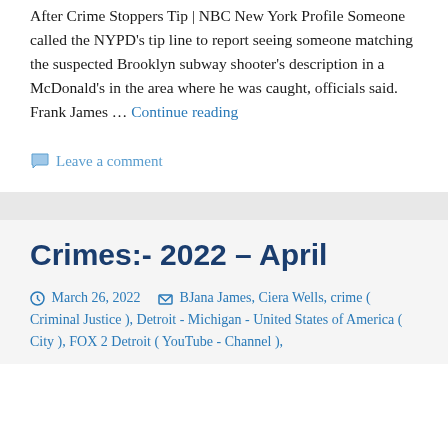After Crime Stoppers Tip | NBC New York Profile Someone called the NYPD's tip line to report seeing someone matching the suspected Brooklyn subway shooter's description in a McDonald's in the area where he was caught, officials said. Frank James … Continue reading
Leave a comment
Crimes:- 2022 – April
March 26, 2022   BJana James, Ciera Wells, crime ( Criminal Justice ), Detroit - Michigan - United States of America ( City ), FOX 2 Detroit ( YouTube - Channel ),